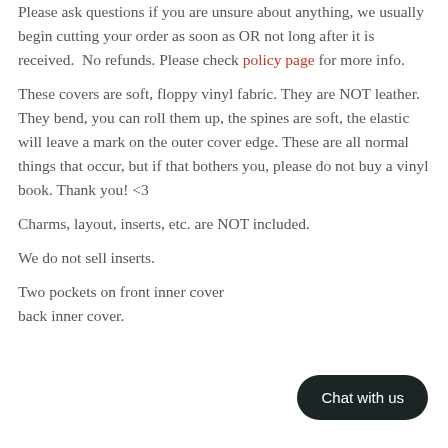Please ask questions if you are unsure about anything, we usually begin cutting your order as soon as OR not long after it is received.  No refunds. Please check policy page for more info.
These covers are soft, floppy vinyl fabric. They are NOT leather. They bend, you can roll them up, the spines are soft, the elastic will leave a mark on the outer cover edge. These are all normal things that occur, but if that bothers you, please do not buy a vinyl book. Thank you! <3
Charms, layout, inserts, etc. are NOT included.
We do not sell inserts.
Two pockets on front inner cover back inner cover.